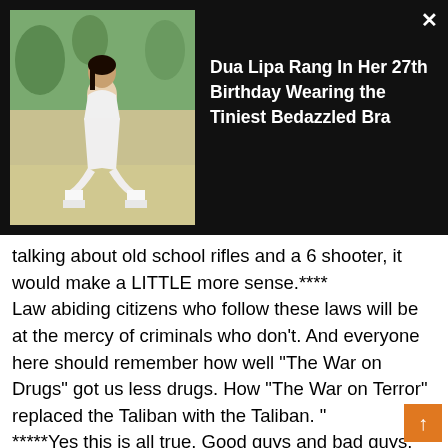[Figure (screenshot): Advertisement banner with dark background showing a woman in white outfit crouching outdoors, with headline text 'Dua Lipa Rang In Her 27th Birthday Wearing the Tiniest Bedazzled Bra' and a close (X) button]
talking about old school rifles and a 6 shooter, it would make a LITTLE more sense.**** Law abiding citizens who follow these laws will be at the mercy of criminals who don't. And everyone here should remember how well "The War on Drugs" got us less drugs. How "The War on Terror" replaced the Taliban with the Taliban. " *****Yes this is all true. Good guys and bad guys. But this fun fetish culture has allowed both to be armed to the teeth with assault weapons and battlefield quality firearms. That's way over the top. Gun